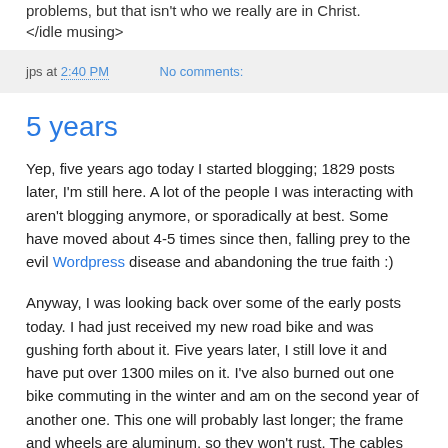problems, but that isn't who we really are in Christ. </idle musing>
jps at 2:40 PM    No comments:
5 years
Yep, five years ago today I started blogging; 1829 posts later, I'm still here. A lot of the people I was interacting with aren't blogging anymore, or sporadically at best. Some have moved about 4-5 times since then, falling prey to the evil Wordpress disease and abandoning the true faith :)
Anyway, I was looking back over some of the early posts today. I had just received my new road bike and was gushing forth about it. Five years later, I still love it and have put over 1300 miles on it. I've also burned out one bike commuting in the winter and am on the second year of another one. This one will probably last longer; the frame and wheels are aluminum, so they won't rust. The cables still need to be replaced and cost about $35-38 to reint...